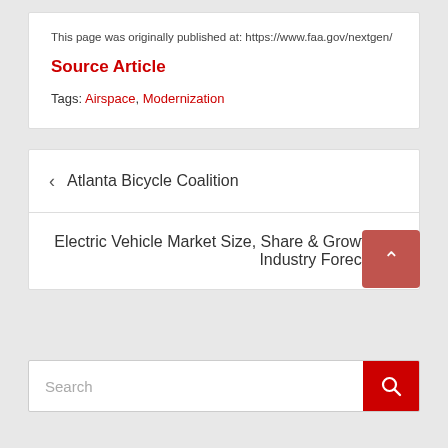This page was originally published at: https://www.faa.gov/nextgen/
Source Article
Tags: Airspace, Modernization
‹  Atlanta Bicycle Coalition
Electric Vehicle Market Size, Share & Growth | Industry Forecast  ›